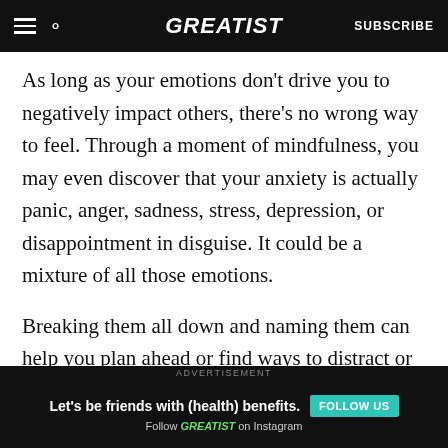GREATIST | SUBSCRIBE
As long as your emotions don't drive you to negatively impact others, there's no wrong way to feel. Through a moment of mindfulness, you may even discover that your anxiety is actually panic, anger, sadness, stress, depression, or disappointment in disguise. It could be a mixture of all those emotions.
Breaking them all down and naming them can help you plan ahead or find ways to distract or reassure yourself. For example, if you're dealing with feelings of guilt because you can't self-isolate
ADVERTISEMENT
[Figure (infographic): Dark advertisement banner: 'Let's be friends with (health) benefits. Follow GREATIST on Instagram' with a teal FOLLOW US button.]